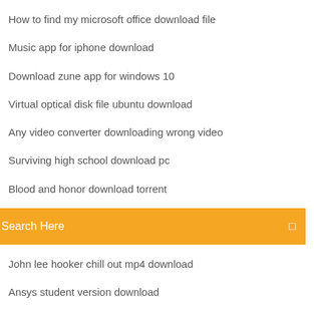How to find my microsoft office download file
Music app for iphone download
Download zune app for windows 10
Virtual optical disk file ubuntu download
Any video converter downloading wrong video
Surviving high school download pc
Blood and honor download torrent
Search Here
John lee hooker chill out mp4 download
Ansys student version download
Where to find downloaded rom my boy app
Project tl apk download
Cnn sued by sandman pdf download of complaint
The mists of avalon cd2 mp4 download
Free download best android modded games and apps with direct links Android, Apk , Mod , OBB File , SD File , Mobile , device